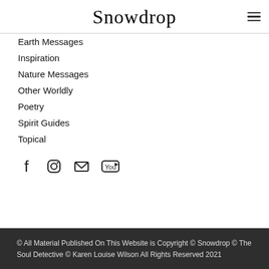Snowdrop
Earth Messages
Inspiration
Nature Messages
Other Worldly
Poetry
Spirit Guides
Topical
[Figure (other): Social media icons: Facebook, Instagram, Email, YouTube]
© All Material Published On This Website is Copyright © Snowdrop © The Soul Detective © Karen Louise Wilson All Rights Reserved 2021